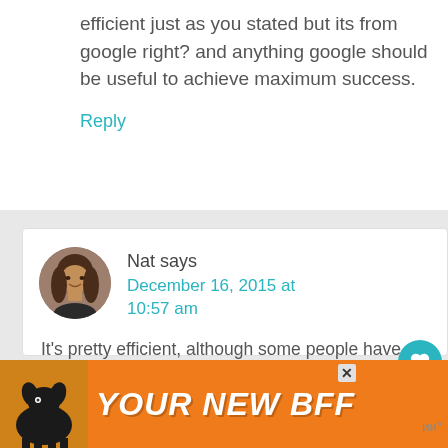efficient just as you stated but its from google right? and anything google should be useful to achieve maximum success.
Reply
Nat says December 16, 2015 at 10:57 am
[Figure (photo): Circular avatar photo of a young woman with long brown hair]
It's pretty efficient, although some people have stated that google seems to over inflate the
[Figure (other): Advertisement banner: orange background with dog silhouette and text YOUR NEW BFF]